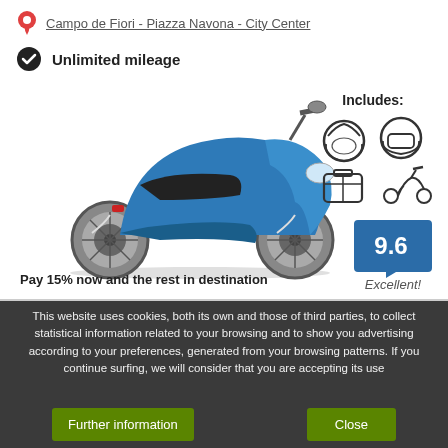Campo de Fiori - Piazza Navona - City Center
Unlimited mileage
[Figure (photo): Blue scooter/moped vehicle photo]
Includes:
[Figure (illustration): Icons: two helmets, luggage/case, scooter icon]
[Figure (other): Rating badge showing 9.6]
Excellent!
Pay 15% now and the rest in destination
This website uses cookies, both its own and those of third parties, to collect statistical information related to your browsing and to show you advertising according to your preferences, generated from your browsing patterns. If you continue surfing, we will consider that you are accepting its use
Further information
Close